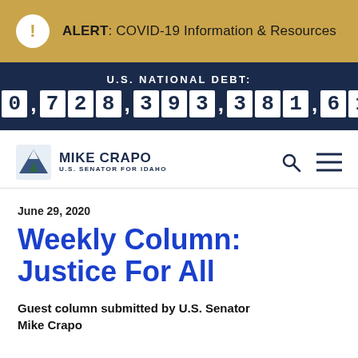ALERT: COVID-19 Information & Resources
U.S. NATIONAL DEBT: $30,728,393,381,614
[Figure (logo): Mike Crapo U.S. Senator for Idaho logo with mountain/tree graphic]
June 29, 2020
Weekly Column: Justice For All
Guest column submitted by U.S. Senator Mike Crapo